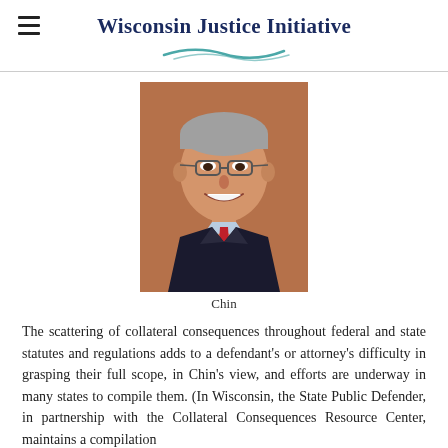Wisconsin Justice Initiative
[Figure (photo): Headshot of a man named Chin, wearing glasses, a dark suit jacket, light blue dress shirt, and red tie, smiling at the camera.]
Chin
The scattering of collateral consequences throughout federal and state statutes and regulations adds to a defendant's or attorney's difficulty in grasping their full scope, in Chin's view, and efforts are underway in many states to compile them. (In Wisconsin, the State Public Defender, in partnership with the Collateral Consequences Resource Center, maintains a compilation